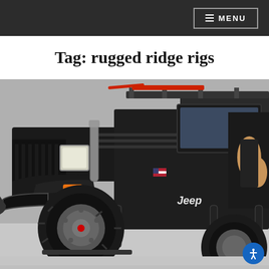MENU
Tag: rugged ridge rigs
[Figure (photo): Close-up photo of a black Jeep Wrangler (YJ/TJ generation) with large off-road tires, tube bumpers, snorkel, roof rack with red equipment, flat fenders, and a person partially visible in the open door. The word 'Jeep' is visible on the body panel. An American flag decal is on the side.]